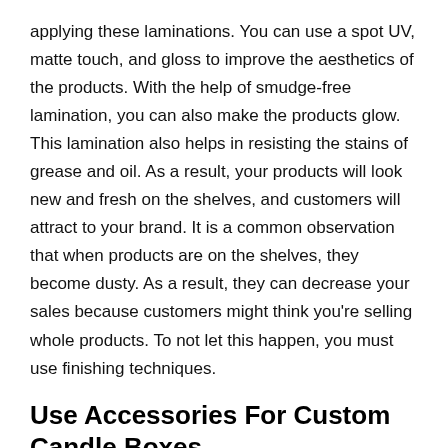applying these laminations. You can use a spot UV, matte touch, and gloss to improve the aesthetics of the products. With the help of smudge-free lamination, you can also make the products glow. This lamination also helps in resisting the stains of grease and oil. As a result, your products will look new and fresh on the shelves, and customers will attract to your brand. It is a common observation that when products are on the shelves, they become dusty. As a result, they can decrease your sales because customers might think you're selling whole products. To not let this happen, you must use finishing techniques.
Use Accessories For Custom Candle Boxes
Another tip for increasing the aesthetics of your products is to use accessories. There are many options available to achieve this goal. For example, you can use ribbons and bows on the packaging to make the products a gift to your brand. Along with this